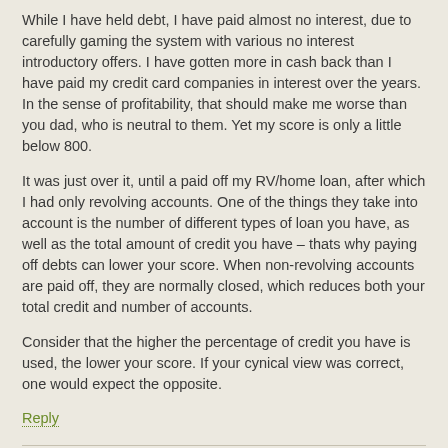While I have held debt, I have paid almost no interest, due to carefully gaming the system with various no interest introductory offers. I have gotten more in cash back than I have paid my credit card companies in interest over the years. In the sense of profitability, that should make me worse than you dad, who is neutral to them. Yet my score is only a little below 800.
It was just over it, until a paid off my RV/home loan, after which I had only revolving accounts. One of the things they take into account is the number of different types of loan you have, as well as the total amount of credit you have – thats why paying off debts can lower your score. When non-revolving accounts are paid off, they are normally closed, which reduces both your total credit and number of accounts.
Consider that the higher the percentage of credit you have is used, the lower your score. If your cynical view was correct, one would expect the opposite.
Reply